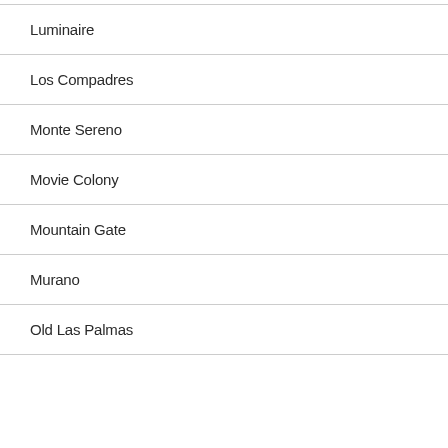Luminaire
Los Compadres
Monte Sereno
Movie Colony
Mountain Gate
Murano
Old Las Palmas